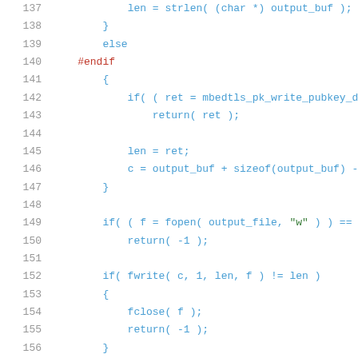[Figure (screenshot): Source code listing lines 137-157 showing C code with syntax highlighting. Line numbers in gray on left, keywords in blue, strings in green, preprocessor directives in red.]